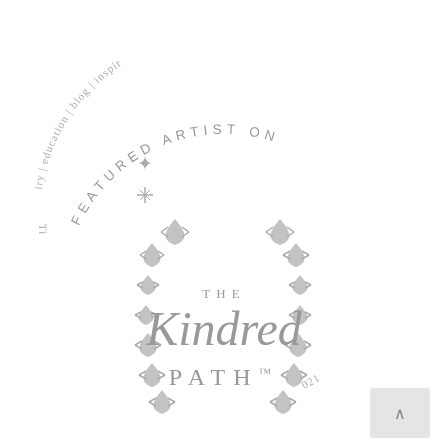[Figure (logo): Featured Artist on The Kindred Path badge/logo. A circular badge with text 'FEATURED ARTIST ON' arched along the top, decorative botanical/floral border elements on the left and right sides, and in the center 'THE' in small spaced caps, 'Kindred' in large script font, and 'PATH' in spaced serif caps with a trademark symbol. Above the badge, partially visible curved text reads 'iry | education | blog | inspir' (parts of a navigational arc from a website). At the bottom, partially visible text. A small gray back-to-top button is in the lower right.]